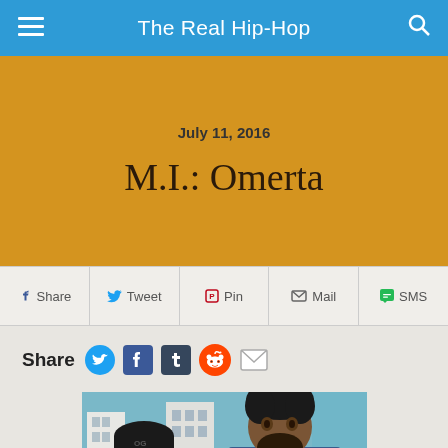The Real Hip-Hop
July 11, 2016
M.I.: Omerta
Share  Tweet  Pin  Mail  SMS
Share
[Figure (photo): Two men posing outdoors in front of buildings and a blue glass panel. Left person wears a dark beanie hat; right person has curly dark hair and a beard.]